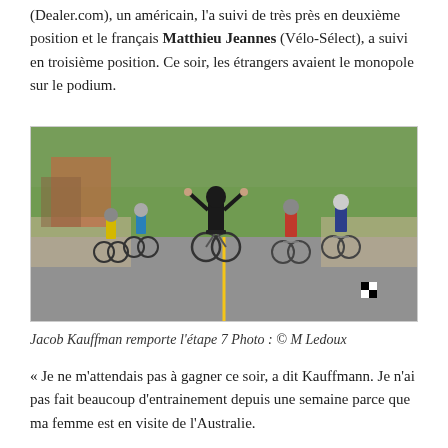(Dealer.com), un américain, l'a suivi de très près en deuxième position et le français Matthieu Jeannes (Vélo-Sélect), a suivi en troisième position. Ce soir, les étrangers avaient le monopole sur le podium.
[Figure (photo): Cyclists racing on a street, winner with arms raised in victory, crowd watching on both sides, tree-lined road.]
Jacob Kauffman remporte l'étape 7 Photo : © M Ledoux
« Je ne m'attendais pas à gagner ce soir, a dit Kauffmann. Je n'ai pas fait beaucoup d'entrainement depuis une semaine parce que ma femme est en visite de l'Australie.